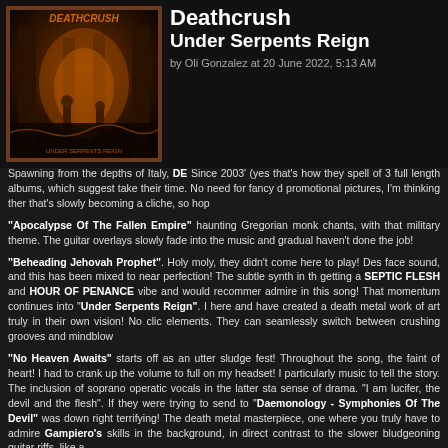Deathcrush
Under Serpents Reign
by Oli Gonzalez at 20 June 2022, 5:13 AM
[Figure (illustration): Album cover art for Deathcrush - Under Serpents Reign, showing a dark fantasy scene with gothic architecture and figures, in orange and brown tones]
Spawning from the depths of Italy, DE Since 2003' (yes that's how they spell of 3 full length albums, which suggest take their time. No need for fancy d promotional pictures, I'm thinking ther that's slowly becoming a cliche, so hop
"Apocalypse Of The Fallen Empire" haunting Gregorian monk chants, with that military theme. The guitar overlays slowly fade into the music and gradual haven't done the job!
"Beheading Jehovah Prophet". Holy moly, they didn't come here to play! Des face sound, and this has been mixed to near perfection! The subtle synth in th getting a SEPTIC FLESH and HOUR OF PENANCE vibe and would recommer admire in this song! That momentum continues into "Under Serpents Reign". I here and have created a death metal work of art truly in their own vision! No clic elements. They can seamlessly switch between crushing grooves and mindblow
"No Heaven Awaits" starts off as an utter sludge fest! Throughout the song, the faint of heart! I had to crank up the volume to full on my headset! I particularly music to tell the story. The inclusion of soprano operatic vocals in the latter sta sense of drama. "I am lucifer, the devil and the flesh". If they were trying to send to "Daemonology - Symphonies Of The Devil" was down right terrifying! The death metal masterpiece, one where you truly have to admire Gampiero's skills in the background, in direct contrast to the slower bludgeoning guitar riffs, like a